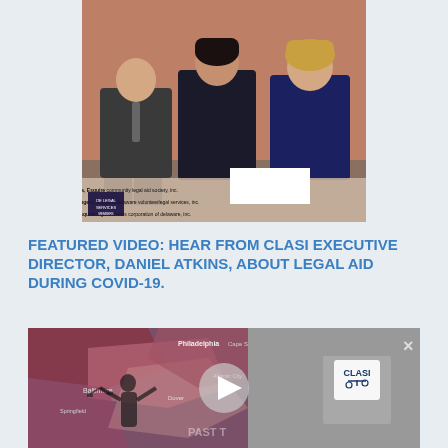[Figure (photo): Photo of three legal professionals (Daniel D. Atkins, Esquire; Janine M. Howard-O'Rangers, Esquire; Cynthia L. DePue, Esquire) seated outdoors in front of a brick building, with text captions identifying each person.]
FEATURED VIDEO: HEAR FROM CLASI EXECUTIVE DIRECTOR, DANIEL ATKINS, ABOUT LEGAL AID DURING COVID-19.
[Figure (screenshot): Video thumbnail showing a map with Philadelphia and surrounding areas highlighted in purple/pink tones, a silhouette figure, and the CLASI logo on the right. A play button (circle with triangle) is visible in the center. An X close button is in the upper right.]